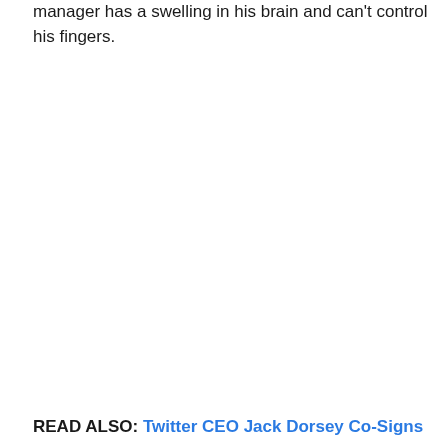manager has a swelling in his brain and can't control his fingers.
READ ALSO: Twitter CEO Jack Dorsey Co-Signs